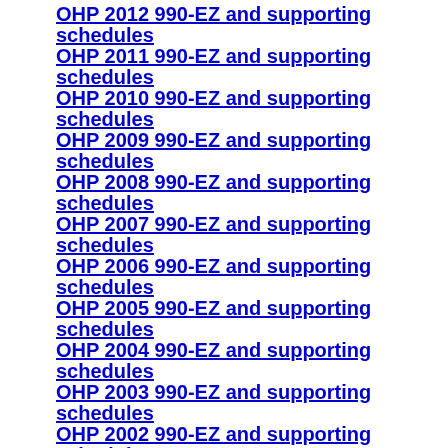OHP 2012 990-EZ and supporting schedules
OHP 2011 990-EZ and supporting schedules
OHP 2010 990-EZ and supporting schedules
OHP 2009 990-EZ and supporting schedules
OHP 2008 990-EZ and supporting schedules
OHP 2007 990-EZ and supporting schedules
OHP 2006 990-EZ and supporting schedules
OHP 2005 990-EZ and supporting schedules
OHP 2004 990-EZ and supporting schedules
OHP 2003 990-EZ and supporting schedules
OHP 2002 990-EZ and supporting schedules
OHP 2001 990-EZ and supporting schedules